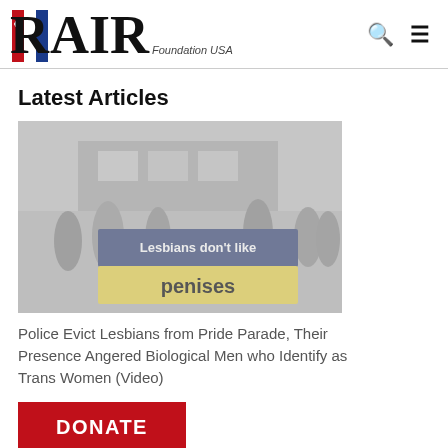RAIR Foundation USA
Latest Articles
[Figure (photo): Protesters at a Pride parade holding a banner reading 'Lesbians don't like penises'. The image is muted/grayed out.]
Police Evict Lesbians from Pride Parade, Their Presence Angered Biological Men who Identify as Trans Women (Video)
DONATE